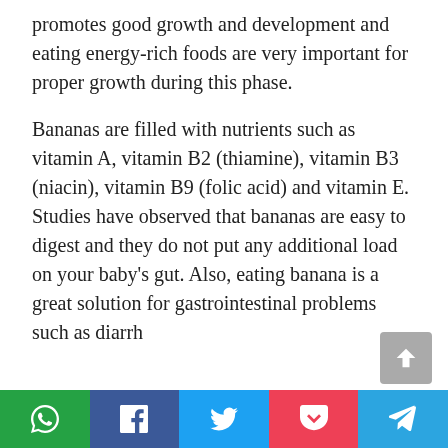promotes good growth and development and eating energy-rich foods are very important for proper growth during this phase.
Bananas are filled with nutrients such as vitamin A, vitamin B2 (thiamine), vitamin B3 (niacin), vitamin B9 (folic acid) and vitamin E. Studies have observed that bananas are easy to digest and they do not put any additional load on your baby's gut. Also, eating banana is a great solution for gastrointestinal problems such as diarrh...